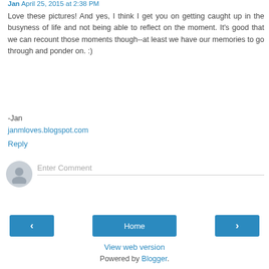Jan April 25, 2015 at 2:38 PM
Love these pictures! And yes, I think I get you on getting caught up in the busyness of life and not being able to reflect on the moment. It's good that we can recount those moments though--at least we have our memories to go through and ponder on. :)
-Jan
janmloves.blogspot.com
Reply
Enter Comment
Home
View web version
Powered by Blogger.